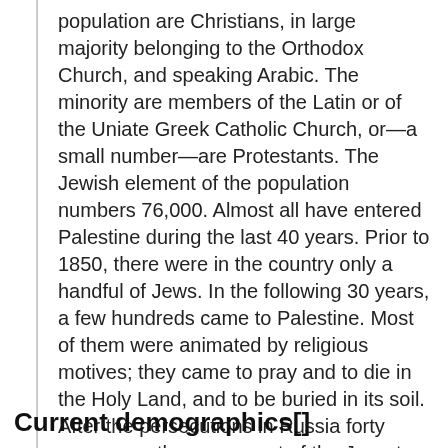population are Christians, in large majority belonging to the Orthodox Church, and speaking Arabic. The minority are members of the Latin or of the Uniate Greek Catholic Church, or—a small number—are Protestants. The Jewish element of the population numbers 76,000. Almost all have entered Palestine during the last 40 years. Prior to 1850, there were in the country only a handful of Jews. In the following 30 years, a few hundreds came to Palestine. Most of them were animated by religious motives; they came to pray and to die in the Holy Land, and to be buried in its soil. After the persecutions in Russia forty years ago, the movement of the Jews to Palestine assumed larger proportions.
Current demographics[]